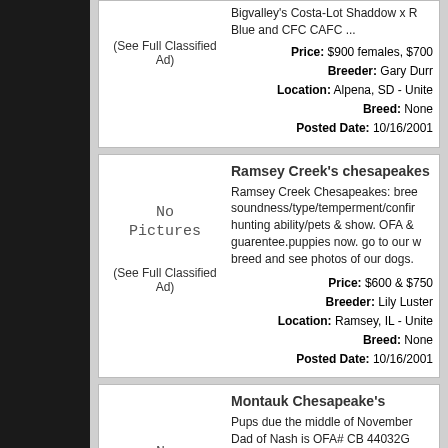Bigvalley's Costa-Lot Shaddow x Blue and CFC CAFC ...
Price: $900 females, $700 ... Breeder: Gary Durr Location: Alpena, SD - United ... Breed: None Posted Date: 10/16/2001
(See Full Classified Ad)
Ramsey Creek's chesapeakes
Ramsey Creek Chesapeakes: breed soundness/type/temperment/confi... hunting ability/pets & show. OFA & guarentee.puppies now. go to our w... breed and see photos of our dogs.
(See Full Classified Ad)
Price: $600 & $750 Breeder: Lily Luster Location: Ramsey, IL - United ... Breed: None Posted Date: 10/16/2001
Montauk Chesapeake's
Pups due the middle of November ... Dad of Nash is OFA# CB 44032G...